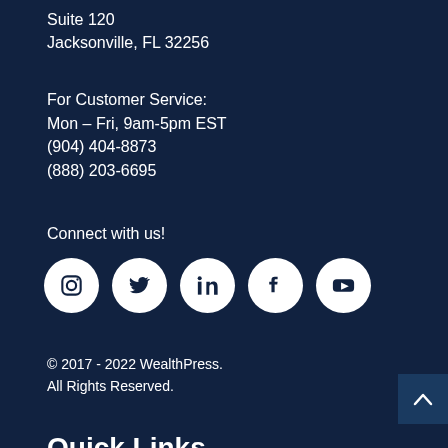Suite 120
Jacksonville, FL 32256
For Customer Service:
Mon – Fri, 9am-5pm EST
(904) 404-8873
(888) 203-6695
Connect with us!
[Figure (other): Row of five social media icons (Instagram, Twitter, LinkedIn, Facebook, YouTube) as white circles on dark navy background]
© 2017 - 2022 WealthPress.
All Rights Reserved.
Quick Links
Contact Us
Content Vault